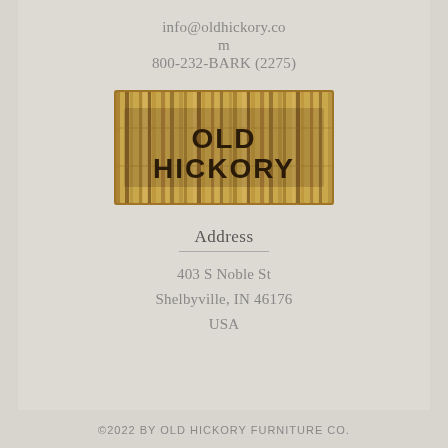info@oldhickory.com
800-232-BARK (2275)
[Figure (logo): Old Hickory logo made of bundled wooden sticks/bark with text OLD HICKORY in dark brown letters]
Address
403 S Noble St
Shelbyville, IN 46176
USA
©2022 BY OLD HICKORY FURNITURE CO.